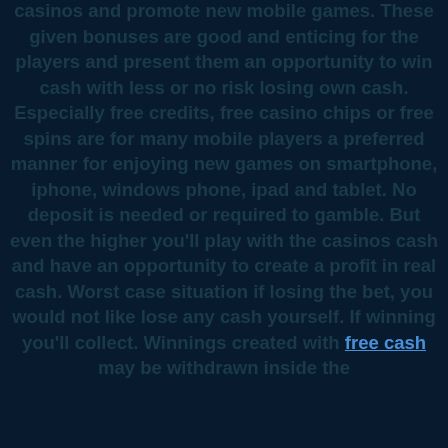casinos and promote new mobile games. These given bonuses are good and enticing for the players and present them an opportunity to win cash with less or no risk losing own cash. Especially free credits, free casino chips or free spins are for many mobile players a preferred manner for enjoying new games on smartphone, iphone, windows phone, ipad and tablet. No deposit is needed or required to gamble. But even the higher you'll play with the casinos cash and have an opportunity to create a profit in real cash. Worst case situation if losing the bet, you would not like lose any cash yourself. If winning you'll collect. Winnings created with free cash may be withdrawn inside the